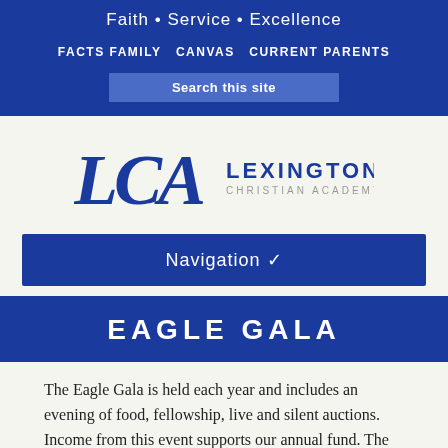Faith • Service • Excellence
FACTS FAMILY   CANVAS   CURRENT PARENTS
Search this site
[Figure (logo): LCA Lexington Christian Academy logo with stylized block letters LCA in blue and the school name beside it]
Navigation
EAGLE GALA
The Eagle Gala is held each year and includes an evening of food, fellowship, live and silent auctions. Income from this event supports our annual fund. The